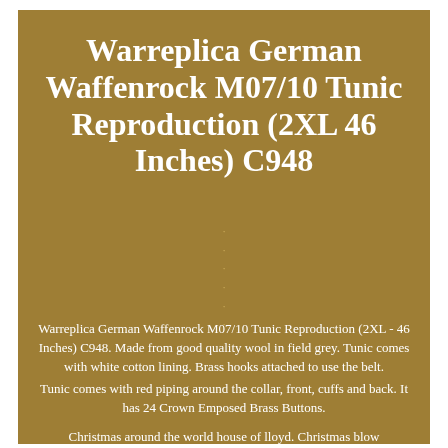Warreplica German Waffenrock M07/10 Tunic Reproduction (2XL 46 Inches) C948
Warreplica German Waffenrock M07/10 Tunic Reproduction (2XL - 46 Inches) C948. Made from good quality wool in field grey. Tunic comes with white cotton lining. Brass hooks attached to use the belt.
Tunic comes with red piping around the collar, front, cuffs and back. It has 24 Crown Emposed Brass Buttons.
Christmas around the world house of lloyd. Christmas blow